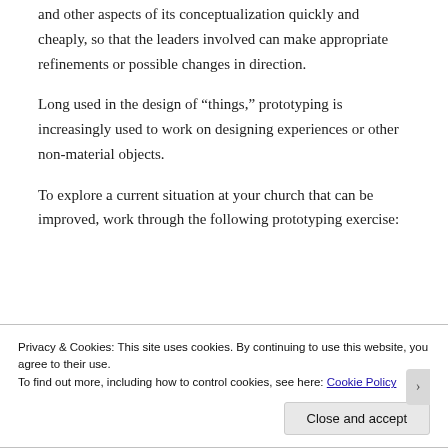and other aspects of its conceptualization quickly and cheaply, so that the leaders involved can make appropriate refinements or possible changes in direction.
Long used in the design of “things,” prototyping is increasingly used to work on designing experiences or other non-material objects.
To explore a current situation at your church that can be improved, work through the following prototyping exercise:
Privacy & Cookies: This site uses cookies. By continuing to use this website, you agree to their use.
To find out more, including how to control cookies, see here: Cookie Policy